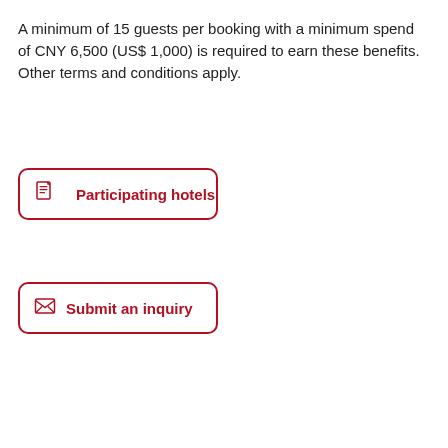A minimum of 15 guests per booking with a minimum spend of CNY 6,500 (US$ 1,000) is required to earn these benefits. Other terms and conditions apply.
Participating hotels
Submit an inquiry